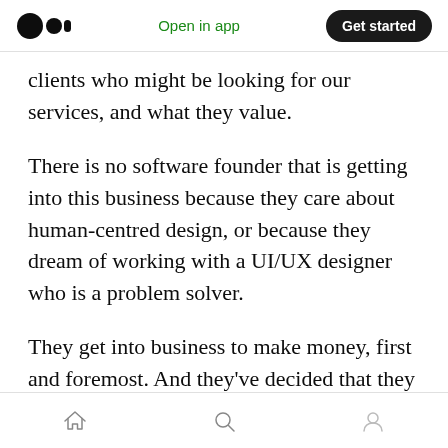Medium app header — Open in app | Get started
clients who might be looking for our services, and what they value.
There is no software founder that is getting into this business because they care about human-centred design, or because they dream of working with a UI/UX designer who is a problem solver.
They get into business to make money, first and foremost. And they've decided that they will do that by creating software. And along the way to making money, they have challenges they need to
Home | Search | Profile